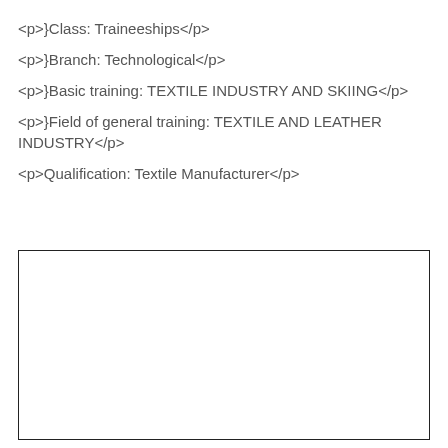<p>}Class: Traineeships</p>
<p>}Branch: Technological</p>
<p>}Basic training: TEXTILE INDUSTRY AND SKIING</p>
<p>}Field of general training: TEXTILE AND LEATHER INDUSTRY</p>
<p>Qualification: Textile Manufacturer</p>
[Figure (other): Empty bordered rectangle box]